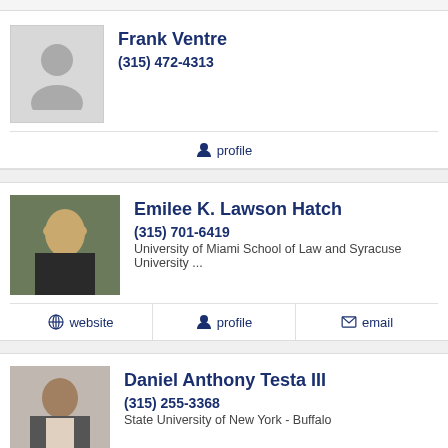Frank Ventre
(315) 472-4313
profile
Emilee K. Lawson Hatch
(315) 701-6419
University of Miami School of Law and Syracuse University ...
website
profile
email
Daniel Anthony Testa III
(315) 255-3368
State University of New York - Buffalo